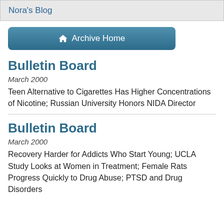Nora's Blog
[Figure (other): Archive Home button with house icon]
Bulletin Board
March 2000
Teen Alternative to Cigarettes Has Higher Concentrations of Nicotine; Russian University Honors NIDA Director
Bulletin Board
March 2000
Recovery Harder for Addicts Who Start Young; UCLA Study Looks at Women in Treatment; Female Rats Progress Quickly to Drug Abuse; PTSD and Drug Disorders